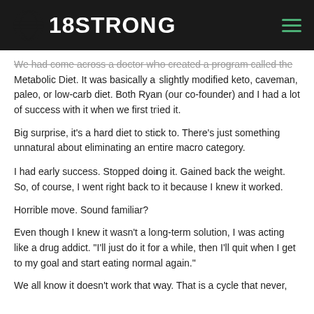18STRONG
We had come across a doctor who created a program called the Metabolic Diet. It was basically a slightly modified keto, caveman, paleo, or low-carb diet. Both Ryan (our co-founder) and I had a lot of success with it when we first tried it.
Big surprise, it's a hard diet to stick to. There's just something unnatural about eliminating an entire macro category.
I had early success. Stopped doing it. Gained back the weight. So, of course, I went right back to it because I knew it worked.
Horrible move. Sound familiar?
Even though I knew it wasn't a long-term solution, I was acting like a drug addict. "I'll just do it for a while, then I'll quit when I get to my goal and start eating normal again."
We all know it doesn't work that way. That is a cycle that never,